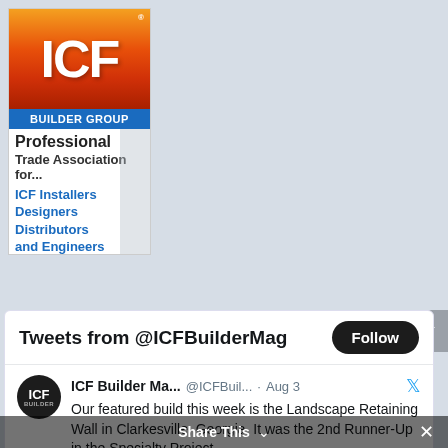[Figure (logo): ICF Builder Group advertisement. Orange/red gradient ICF logo at top, blue 'BUILDER GROUP' bar, text 'Professional Trade Association for... ICF Installers Designers Distributors and Engineers' in dark and blue bold text.]
Tweets from @ICFBuilderMag
ICF Builder Ma... @ICFBuil... · Aug 3  Our featured build this week is the Landscape Retaining Wall in Clarkesville, Georgia. It was the 2nd Runner-Up in the Specialty Project
Share This